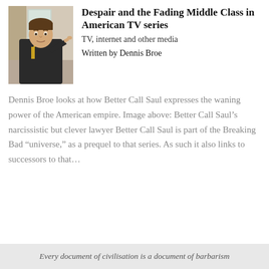[Figure (photo): Man in dark jacket with yellow accent pointing at camera, seated in an office-like setting]
Despair and the Fading Middle Class in American TV series
TV, internet and other media
Written by Dennis Broe
Dennis Broe looks at how Better Call Saul expresses the waning power of the American empire. Image above: Better Call Saul’s narcissistic but clever lawyer Better Call Saul is part of the Breaking Bad “universe,” as a prequel to that series. As such it also links to successors to that…
Every document of civilisation is a document of barbarism